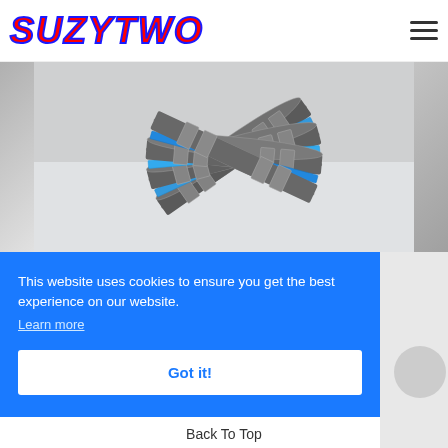SUZYTWO
[Figure (photo): Clutch plates/discs for motorcycle, fanned out showing textured friction material with blue steel plates visible, on light background]
This website uses cookies to ensure you get the best experience on our website.
Learn more
Got it!
Back To Top